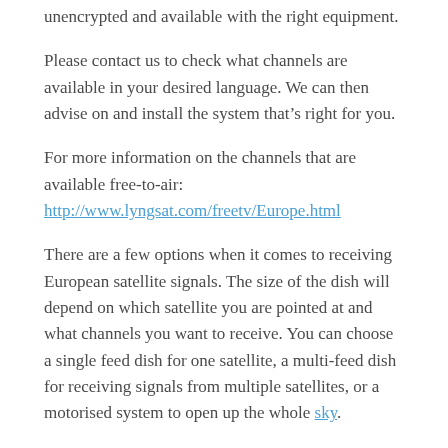unencrypted and available with the right equipment.
Please contact us to check what channels are available in your desired language. We can then advise on and install the system that’s right for you.
For more information on the channels that are available free-to-air:
http://www.lyngsat.com/freetv/Europe.html
There are a few options when it comes to receiving European satellite signals. The size of the dish will depend on which satellite you are pointed at and what channels you want to receive. You can choose a single feed dish for one satellite, a multi-feed dish for receiving signals from multiple satellites, or a motorised system to open up the whole sky.
Satellites such as Hotbird 13 and Astra 19 can use dishes as small as 60cm to receive channels from